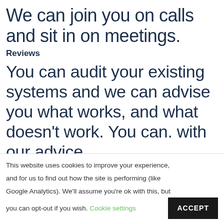We can join you on calls and sit in on meetings.
Reviews
You can audit your existing systems and we can advise you what works, and what doesn't work. You can. with our advice.
This website uses cookies to improve your experience, and for us to find out how the site is performing (like Google Analytics). We'll assume you're ok with this, but you can opt-out if you wish. Cookie settings ACCEPT